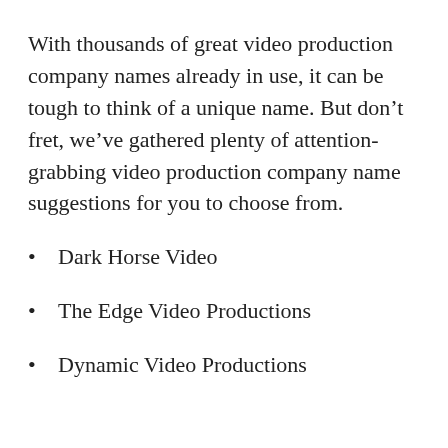With thousands of great video production company names already in use, it can be tough to think of a unique name. But don't fret, we've gathered plenty of attention-grabbing video production company name suggestions for you to choose from.
Dark Horse Video
The Edge Video Productions
Dynamic Video Productions